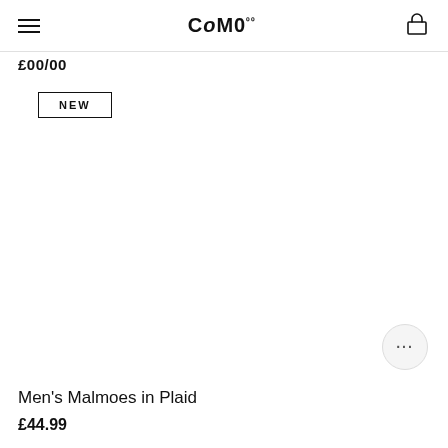CoMo (logo with hamburger menu and bag icon)
£00/00
NEW
Men's Malmoes in Plaid
£44.99